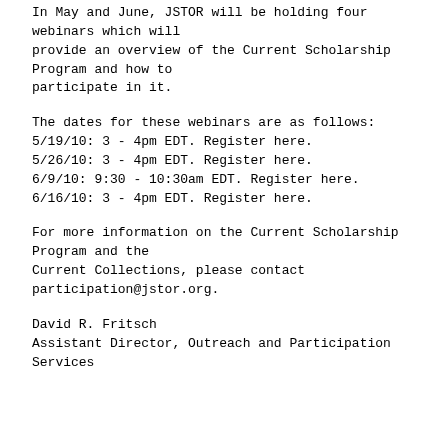In May and June, JSTOR will be holding four webinars which will provide an overview of the Current Scholarship Program and how to participate in it.
The dates for these webinars are as follows:
5/19/10: 3 - 4pm EDT. Register here.
5/26/10: 3 - 4pm EDT. Register here.
6/9/10: 9:30 - 10:30am EDT. Register here.
6/16/10: 3 - 4pm EDT. Register here.
For more information on the Current Scholarship Program and the Current Collections, please contact participation@jstor.org.
David R. Fritsch
Assistant Director, Outreach and Participation Services